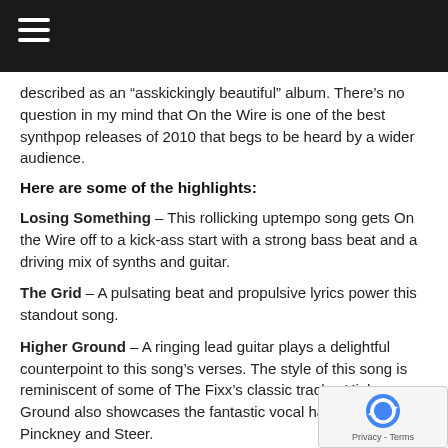described as an “asskickingly beautiful” album. There’s no question in my mind that On the Wire is one of the best synthpop releases of 2010 that begs to be heard by a wider audience.
Here are some of the highlights:
Losing Something – This rollicking uptempo song gets On the Wire off to a kick-ass start with a strong bass beat and a driving mix of synths and guitar.
The Grid – A pulsating beat and propulsive lyrics power this standout song.
Higher Ground – A ringing lead guitar plays a delightful counterpoint to this song’s verses. The style of this song is reminiscent of some of The Fixx’s classic tracks. Higher Ground also showcases the fantastic vocal harmony between Pinckney and Steer.